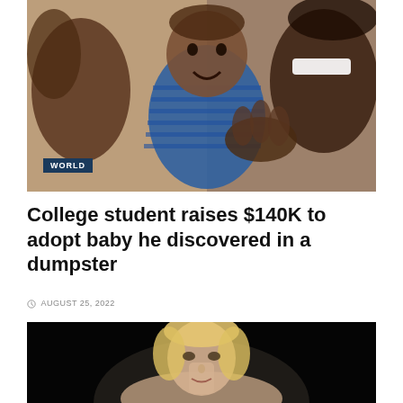[Figure (photo): Close-up photo of an adult holding a smiling baby/toddler in a blue striped shirt. The adult's face is partially visible showing a wide smile. Warm indoor lighting.]
WORLD
College student raises $140K to adopt baby he discovered in a dumpster
AUGUST 25, 2022
[Figure (photo): Photo of a blonde woman against a dark/black background, face visible from shoulders up, appears to be at a formal or press event.]